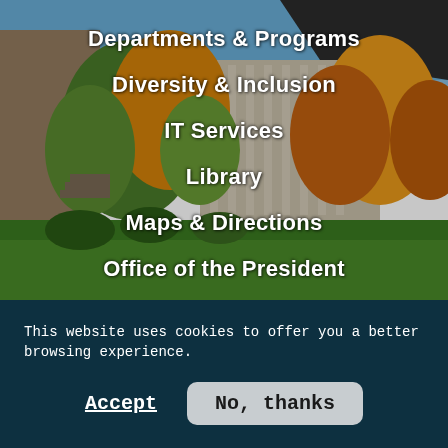[Figure (photo): Autumn campus photo showing brick buildings with columns, green lawn, and trees with orange and yellow fall foliage under a blue sky.]
Departments & Programs
Diversity & Inclusion
IT Services
Library
Maps & Directions
Office of the President
Offices & Services
Strategic Plan
Title IX
This website uses cookies to offer you a better browsing experience.
Accept
No, thanks